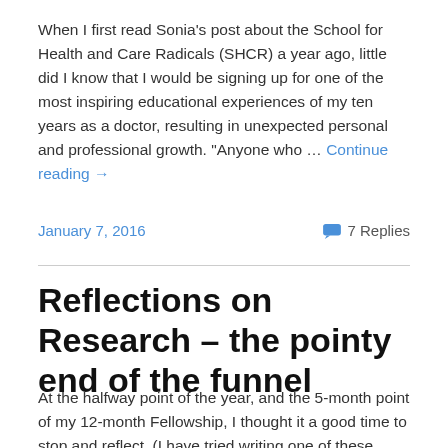When I first read Sonia's post about the School for Health and Care Radicals (SHCR) a year ago, little did I know that I would be signing up for one of the most inspiring educational experiences of my ten years as a doctor, resulting in unexpected personal and professional growth. "Anyone who … Continue reading →
January 7, 2016
7 Replies
Reflections on Research – the pointy end of the funnel
At the halfway point of the year, and the 5-month point of my 12-month Fellowship, I thought it a good time to stop and reflect. (I have tried writing one of these posts at the